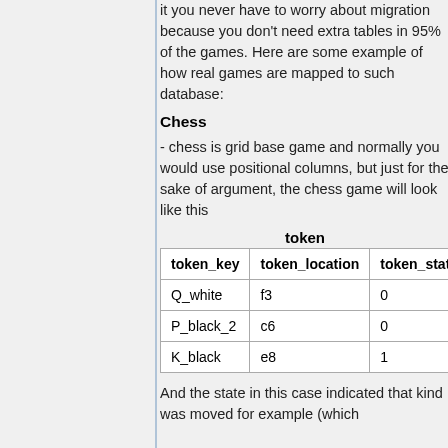it you never have to worry about migration because you don't need extra tables in 95% of the games. Here are some example of how real games are mapped to such database:
Chess
- chess is grid base game and normally you would use positional columns, but just for the sake of argument, the chess game will look like this
token
| token_key | token_location | token_state |
| --- | --- | --- |
| Q_white | f3 | 0 |
| P_black_2 | c6 | 0 |
| K_black | e8 | 1 |
And the state in this case indicated that kind was moved for example (which